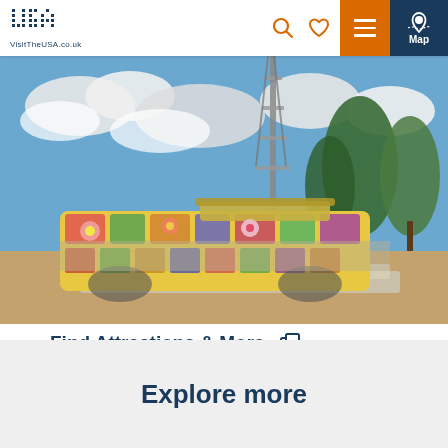VisitTheUSA.co.uk navigation header with logo, search, heart, menu and map buttons
[Figure (photo): Colorful mosaic-decorated bus or vehicle art installation outdoors, with a metal tower and trees in the background under a blue sky with clouds.]
Find Attractions & More
Explore more